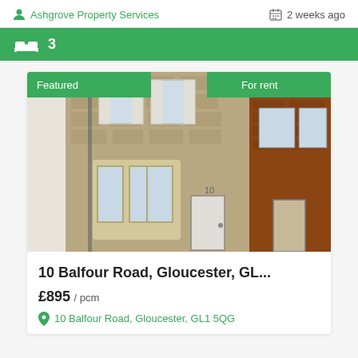Ashgrove Property Services
2 weeks ago
3
[Figure (photo): Exterior photo of a stone-fronted terraced house at 10 Balfour Road, Gloucester. The property has a bay window, white door numbered 10, and is flanked by red-brick buildings. Green badges read 'Featured' (top left) and 'For rent' (top right).]
10 Balfour Road, Gloucester, GL...
£895 / pcm
10 Balfour Road, Gloucester, GL1 5QG